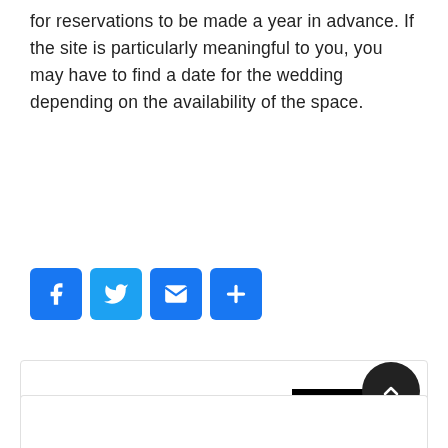for reservations to be made a year in advance. If the site is particularly meaningful to you, you may have to find a date for the wedding depending on the availability of the space.
[Figure (other): Four social sharing icon buttons: Facebook (blue with F), Twitter (blue with bird), Email (blue with envelope), Share/Plus (blue with plus sign)]